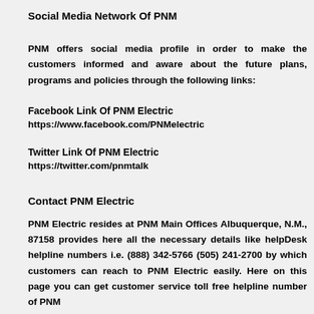Social Media Network Of PNM
PNM offers social media profile in order to make the customers informed and aware about the future plans, programs and policies through the following links:
Facebook Link Of PNM Electric
https://www.facebook.com/PNMelectric
Twitter Link Of PNM Electric
https://twitter.com/pnmtalk
Contact PNM Electric
PNM Electric resides at PNM Main Offices Albuquerque, N.M., 87158 provides here all the necessary details like helpDesk helpline numbers i.e. (888) 342-5766 (505) 241-2700 by which customers can reach to PNM Electric easily. Here on this page you can get customer service toll free helpline number of PNM